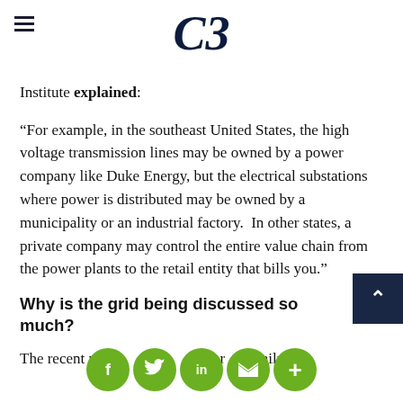≡   C3
Institute explained:
“For example, in the southeast United States, the high voltage transmission lines may be owned by a power company like Duke Energy, but the electrical substations where power is distributed may be owned by a municipality or an industrial factory.  In other states, a private company may control the entire value chain from the power plants to the retail entity that bills you.”
Why is the grid being discussed so much?
The recent roll out of o and o failures during the...